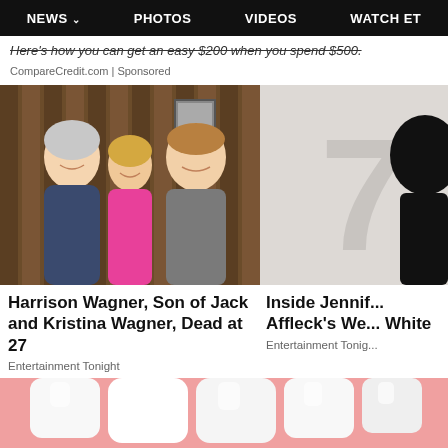NEWS  PHOTOS  VIDEOS  WATCH ET
Here's how you can get an easy $200 when you spend $500.
CompareCredit.com | Sponsored
[Figure (photo): Three people posing together indoors — two men and a woman in a pink top — smiling in front of a wood-paneled wall]
Harrison Wagner, Son of Jack and Kristina Wagner, Dead at 27
Entertainment Tonight
[Figure (photo): Partially visible photo on right side, showing a light background with a dark silhouette/shape]
Inside Jennif... Affleck's We... White
Entertainment Tonig...
[Figure (photo): Close-up of white dental crowns/teeth against a pink gum background]